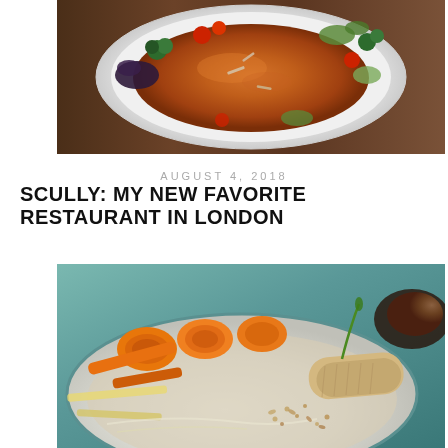[Figure (photo): Top-down view of a white plate with dark amber/brown broth and colorful vegetables including broccoli, tomatoes, cucumber, and dark purple micro greens arranged around the edges]
AUGUST 4, 2018
SCULLY: MY NEW FAVORITE RESTAURANT IN LONDON
[Figure (photo): Close-up of a dish featuring rolled carrot slices, spring rolls, green onion, and scattered nuts/seeds on a plate with a light-colored broth]